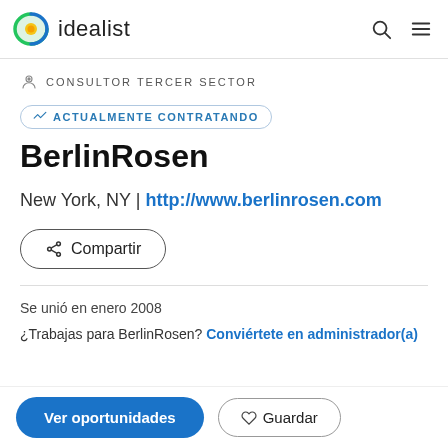idealist
CONSULTOR TERCER SECTOR
ACTUALMENTE CONTRATANDO
BerlinRosen
New York, NY | http://www.berlinrosen.com
Compartir
Se unió en enero 2008
¿Trabajas para BerlinRosen? Conviértete en administrador(a)
Ver oportunidades
Guardar